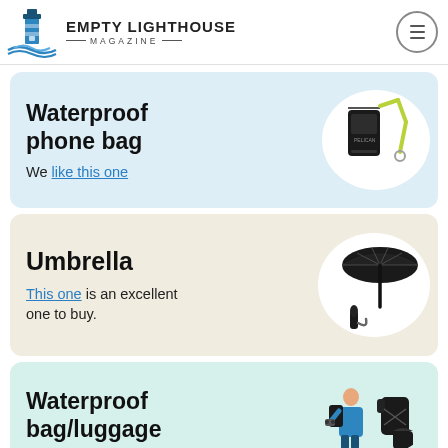EMPTY LIGHTHOUSE MAGAZINE
Waterproof phone bag
We like this one
[Figure (photo): Waterproof phone bag product image with yellow lanyard]
Umbrella
This one is an excellent one to buy.
[Figure (photo): Black compact umbrella product image]
Waterproof bag/luggage
[Figure (photo): Person with waterproof bag/luggage cover]